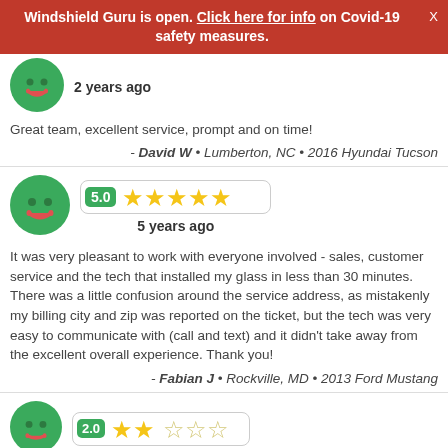Windshield Guru is open. Click here for info on Covid-19 safety measures.
2 years ago
Great team, excellent service, prompt and on time!
- David W • Lumberton, NC • 2016 Hyundai Tucson
[Figure (illustration): Green smiley face avatar icon with 5.0 rating badge and 5 gold stars, labeled '5 years ago']
It was very pleasant to work with everyone involved - sales, customer service and the tech that installed my glass in less than 30 minutes. There was a little confusion around the service address, as mistakenly my billing city and zip was reported on the ticket, but the tech was very easy to communicate with (call and text) and it didn't take away from the excellent overall experience. Thank you!
- Fabian J • Rockville, MD • 2013 Ford Mustang
[Figure (illustration): Green smiley face avatar icon with 2.0 rating badge and partial stars (2 filled, 3 empty), partially visible at bottom]